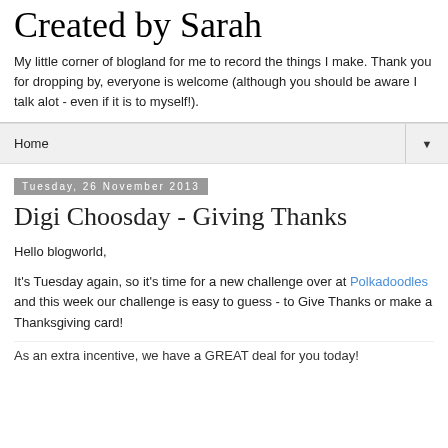Created by Sarah
My little corner of blogland for me to record the things I make. Thank you for dropping by, everyone is welcome (although you should be aware I talk alot - even if it is to myself!).
Home ▼
Tuesday, 26 November 2013
Digi Choosday - Giving Thanks
Hello blogworld,
It's Tuesday again, so it's time for a new challenge over at Polkadoodles and this week our challenge is easy to guess - to Give Thanks or make a Thanksgiving card!
As an extra incentive, we have a GREAT deal for you today!